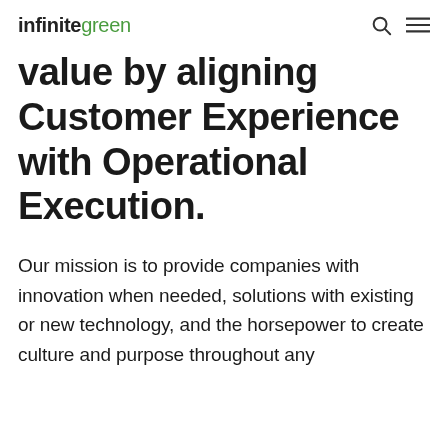infinitegreen
value by aligning Customer Experience with Operational Execution.
Our mission is to provide companies with innovation when needed, solutions with existing or new technology, and the horsepower to create culture and purpose throughout any